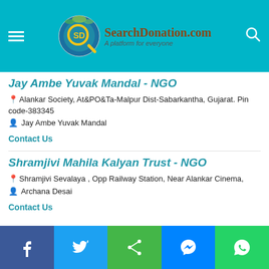SearchDonation.com - A platform for everyone
Jay Ambe Yuvak Mandal - NGO
Alankar Society, At&PO&Ta-Malpur Dist-Sabarkantha, Gujarat. Pin code-383345
Jay Ambe Yuvak Mandal
Contact Us
Shramjivi Mahila Kalyan Trust - NGO
Shramjivi Sevalaya , Opp Railway Station, Near Alankar Cinema,
Archana Desai
Contact Us
Social share bar: Facebook, Twitter, Share, Messenger, WhatsApp